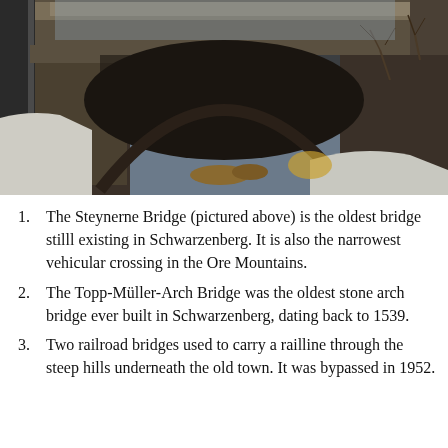[Figure (photo): A stone arch bridge photographed in winter, with snow on the ground and bare trees visible. The bridge spans a small creek or ravine. The photo is taken from above, showing the arch and stone masonry.]
The Steynerne Bridge (pictured above) is the oldest bridge stilll existing in Schwarzenberg. It is also the narrowest vehicular crossing in the Ore Mountains.
The Topp-Müller-Arch Bridge was the oldest stone arch bridge ever built in Schwarzenberg, dating back to 1539.
Two railroad bridges used to carry a railline through the steep hills underneath the old town. It was bypassed in 1952.